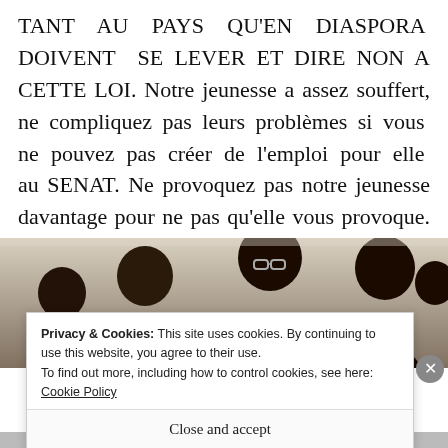TANT AU PAYS QU'EN DIASPORA DOIVENT SE LEVER ET DIRE NON A CETTE LOI. Notre jeunesse a assez souffert, ne compliquez pas leurs problèmes si vous ne pouvez pas créer de l'emploi pour elle au SENAT. Ne provoquez pas notre jeunesse davantage pour ne pas qu'elle vous provoque. JE M'ARRETE LA!
[Figure (photo): Group of people seated, partially visible, photo partially obscured by cookie consent banner]
Privacy & Cookies: This site uses cookies. By continuing to use this website, you agree to their use.
To find out more, including how to control cookies, see here: Cookie Policy
Close and accept